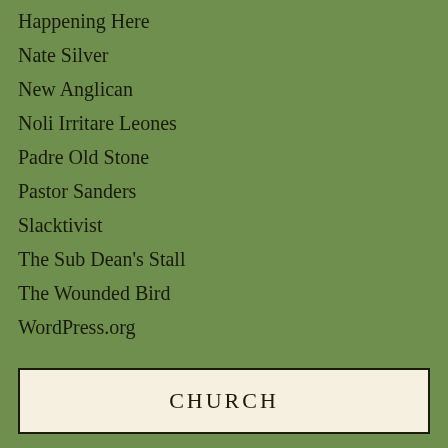Happening Here
Nate Silver
New Anglican
Noli Irritare Leones
Padre Old Stone
Pastor Sanders
Slacktivist
The Sub Dean's Stall
The Wounded Bird
WordPress.org
CHURCH